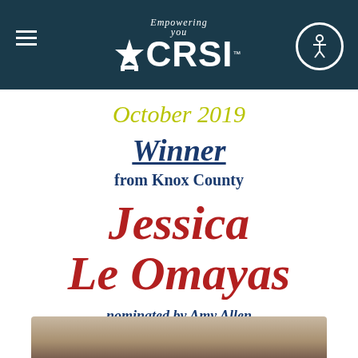[Figure (logo): CRSI logo with star, 'Empowering You' tagline, and accessibility icon on dark teal header bar]
October 2019
Winner from Knox County
Jessica Le Omayas
nominated by Amy Allen
[Figure (photo): Partial photo of a person at the bottom of the page]